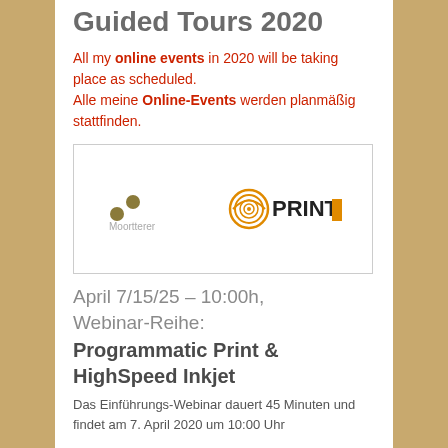Guided Tours 2020
All my online events in 2020 will be taking place as scheduled.
Alle meine Online-Events werden planmäßig stattfinden.
[Figure (logo): Moortterer and PRINT logos side by side in a bordered box]
April 7/15/25 – 10:00h, Webinar-Reihe:
Programmatic Print & HighSpeed Inkjet
Das Einführungs-Webinar dauert 45 Minuten und findet am 7. April 2020 um 10:00 Uhr